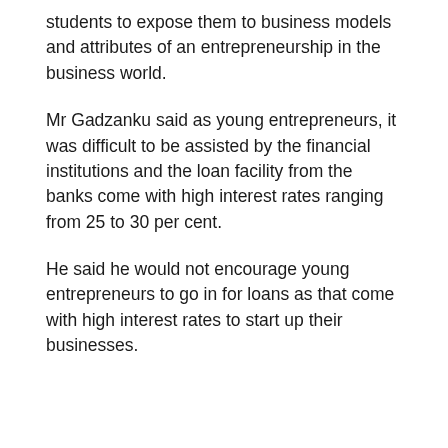students to expose them to business models and attributes of an entrepreneurship in the business world.
Mr Gadzanku said as young entrepreneurs, it was difficult to be assisted by the financial institutions and the loan facility from the banks come with high interest rates ranging from 25 to 30 per cent.
He said he would not encourage young entrepreneurs to go in for loans as that come with high interest rates to start up their businesses.